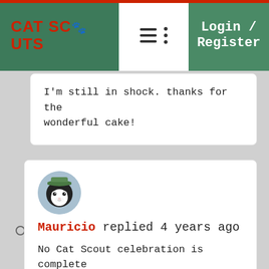[Figure (screenshot): Cat Scouts website header with logo on left, hamburger menu in center white panel, and Login/Register button on right green panel]
I'm still in shock. thanks for the wonderful cake!
Mauricio replied 4 years ago
No Cat Scout celebration is complete without cake!
[Figure (photo): Avatar of a black and white cat wearing a scout hat]